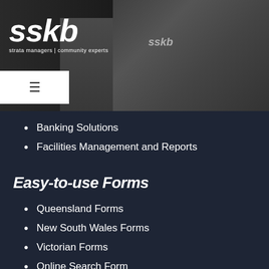[Figure (photo): SSKB strata managers building exterior photo with logo overlay and hamburger menu button]
Banking Solutions
Facilities Management and Reports
Easy-to-use Forms
Queensland Forms
New South Wales Forms
Victorian Forms
Online Search Form